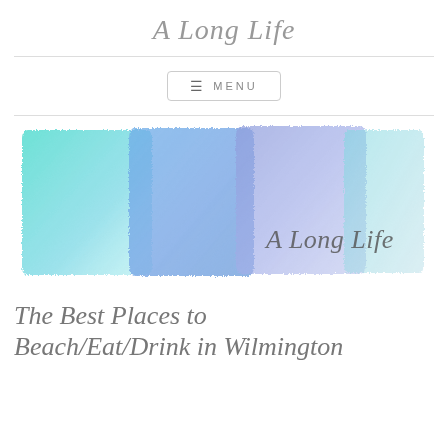A Long Life
[Figure (illustration): Watercolor banner image with teal, blue, and lavender paint swatches blended together, with cursive text 'A Long Life' in the lower right corner]
The Best Places to Beach/Eat/Drink in Wilmington